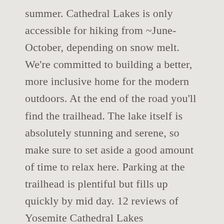summer. Cathedral Lakes is only accessible for hiking from ~June-October, depending on snow melt. We're committed to building a better, more inclusive home for the modern outdoors. At the end of the road you'll find the trailhead. The lake itself is absolutely stunning and serene, so make sure to set aside a good amount of time to relax here. Parking at the trailhead is plentiful but fills up quickly by mid day. 12 reviews of Yosemite Cathedral Lakes "Magnificent. This is a 2.8 mile dirt trail in the Maroon Bells-Snowmass Wilderness near Ashcroft, CO. To get to the trailhead, from the Aspen roundabout turn right onto Castle Creek Road and drive 12 miles. We're committed to